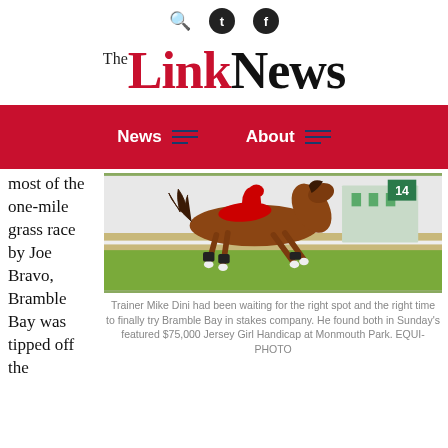search | t | f
The Link News
News | About
[Figure (photo): A chestnut racehorse mid-stride on a grass track, jockey in red silks, racetrack number board visible in background.]
Trainer Mike Dini had been waiting for the right spot and the right time to finally try Bramble Bay in stakes company. He found both in Sunday's featured $75,000 Jersey Girl Handicap at Monmouth Park. EQUI-PHOTO
most of the one-mile grass race by Joe Bravo, Bramble Bay was tipped off the